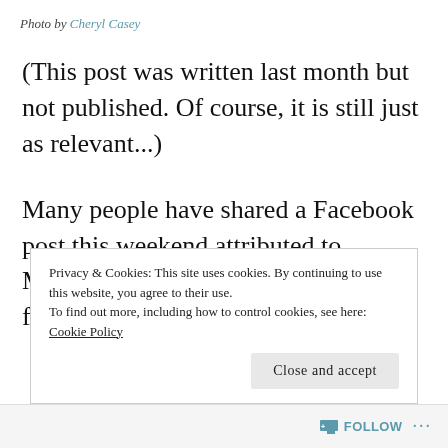Photo by Cheryl Casey
(This post was written last month but not published.  Of course, it is still just as relevant...)
Many people have shared a Facebook post this weekend attributed to Morgan Freeman, encouraging us to forget the name of the person
Privacy & Cookies: This site uses cookies. By continuing to use this website, you agree to their use. To find out more, including how to control cookies, see here: Cookie Policy
Close and accept
Follow